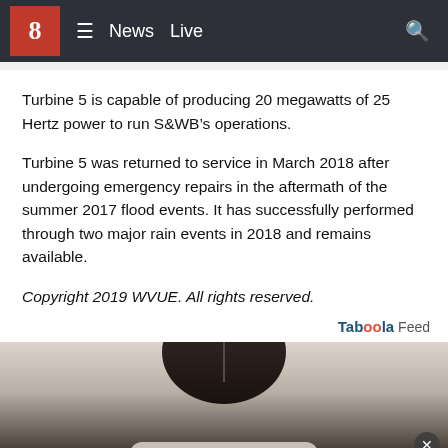8 | News  Live
Turbine 5 is capable of producing 20 megawatts of 25 Hertz power to run S&WB’s operations.
Turbine 5 was returned to service in March 2018 after undergoing emergency repairs in the aftermath of the summer 2017 flood events. It has successfully performed through two major rain events in 2018 and remains available.
Copyright 2019 WVUE. All rights reserved.
[Figure (photo): Taboola Feed advertisement section showing top portion of a person's head/hair against a gray background with a close button in the bottom right corner.]